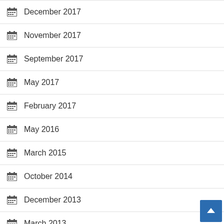December 2017
November 2017
September 2017
May 2017
February 2017
May 2016
March 2015
October 2014
December 2013
March 2013
October 2012
April 2011